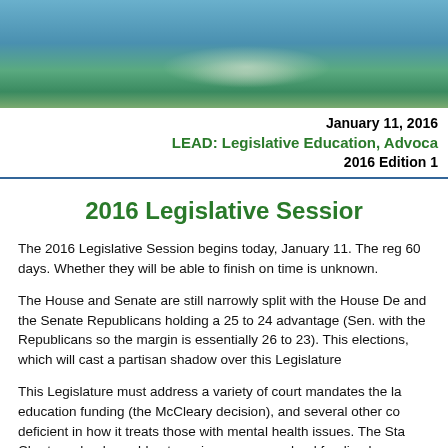[Figure (photo): Outdoor landscape photo showing a body of water reflecting trees and possibly a government building, with green foliage and blue sky.]
January 11, 2016
LEAD: Legislative Education, Advoca
2016 Edition 1
2016 Legislative Session
The 2016 Legislative Session begins today, January 11. The reg 60 days. Whether they will be able to finish on time is unknown.
The House and Senate are still narrowly split with the House De and the Senate Republicans holding a 25 to 24 advantage (Sen. with the Republicans so the margin is essentially 26 to 23). This elections, which will cast a partisan shadow over this Legislature
This Legislature must address a variety of court mandates the la education funding (the McCleary decision), and several other co deficient in how it treats those with mental health issues. The Sta Charter schools could not receive common school funding becau elected.
While dealing with the ramifications of those court cases, the Leg dependent on the courts blocking I-1366. That Initiative would fo April 15 unless the Legislature places a constitutional amendme majority legislative vote to raise taxes.